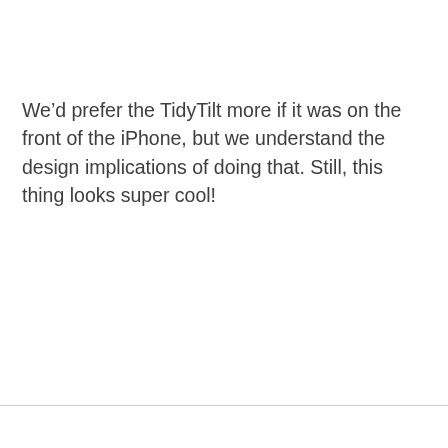We'd prefer the TidyTilt more if it was on the front of the iPhone, but we understand the design implications of doing that. Still, this thing looks super cool!